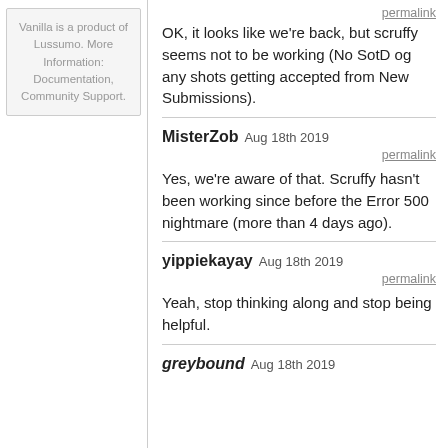Vanilla is a product of Lussumo. More Information: Documentation, Community Support.
permalink
OK, it looks like we're back, but scruffy seems not to be working (No SotD og any shots getting accepted from New Submissions).
MisterZob Aug 18th 2019
permalink
Yes, we're aware of that. Scruffy hasn't been working since before the Error 500 nightmare (more than 4 days ago).
yippiekayay Aug 18th 2019
permalink
Yeah, stop thinking along and stop being helpful.
greybound Aug 18th 2019